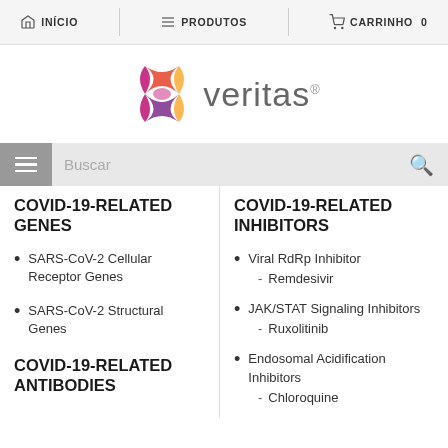INÍCIO   PRODUTOS   CARRINHO 0
[Figure (logo): Veritas logo with colorful geometric bow-tie/X shape in yellow, orange, red, purple colors followed by the word 'veritas' with registered trademark symbol]
Buscar
COVID-19-RELATED GENES
SARS-CoV-2 Cellular Receptor Genes
SARS-CoV-2 Structural Genes
COVID-19-RELATED ANTIBODIES
COVID-19-RELATED INHIBITORS
Viral RdRp Inhibitor
- Remdesivir
JAK/STAT Signaling Inhibitors
- Ruxolitinib
Endosomal Acidification Inhibitors
- Chloroquine